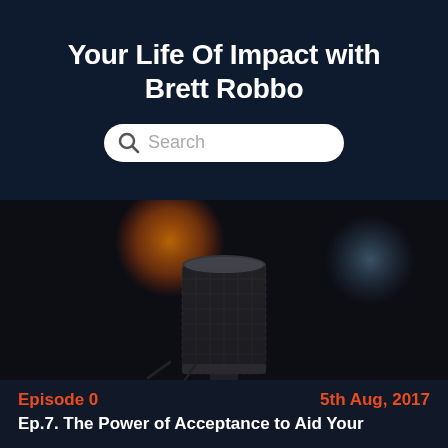Your Life Of Impact with Brett Robbo
[Figure (screenshot): Search bar with magnifying glass icon and placeholder text 'Search' on dark navy background]
[Figure (photo): Close-up photograph of a professional studio condenser microphone in dark, moody lighting with blurred orange and blue bokeh lights in background]
Episode 0
5th Aug, 2017
Ep.7. The Power of Acceptance to Aid Your